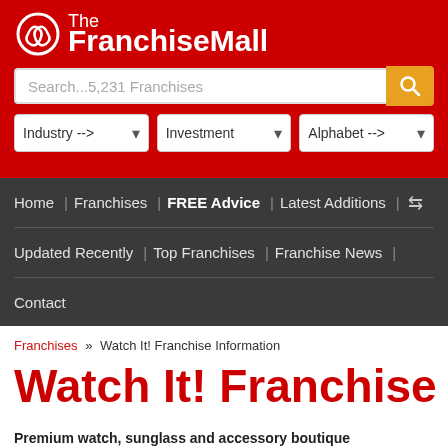The FranchiseMall
Search...5,231 Franchises
Industry --> | Investment | Alphabet -->
Home | Franchises | FREE Advice | Latest Additions | Updated Recently | Top Franchises | Franchise News | Contact
Franchises » Watch It! Franchise Information
Watch It! Franchise
Premium watch, sunglass and accessory boutique